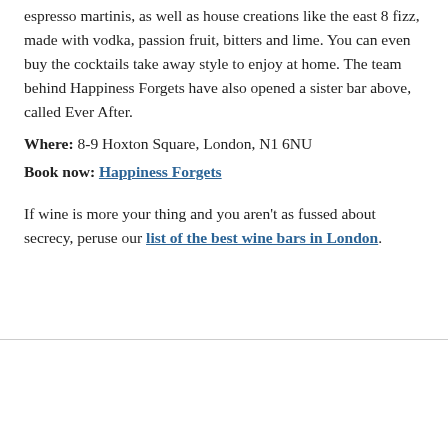espresso martinis, as well as house creations like the east 8 fizz, made with vodka, passion fruit, bitters and lime. You can even buy the cocktails take away style to enjoy at home. The team behind Happiness Forgets have also opened a sister bar above, called Ever After.
Where: 8-9 Hoxton Square, London, N1 6NU
Book now: Happiness Forgets
If wine is more your thing and you aren't as fussed about secrecy, peruse our list of the best wine bars in London.